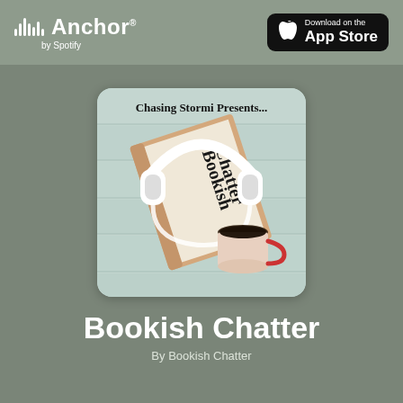Anchor by Spotify | Download on the App Store
[Figure (illustration): Podcast cover art for Bookish Chatter by Chasing Stormi. Shows a book with headphones draped over it and a red coffee cup on a light teal wooden surface. Text on cover reads 'Chasing Stormi Presents... Bookish Chatter']
Bookish Chatter
By Bookish Chatter